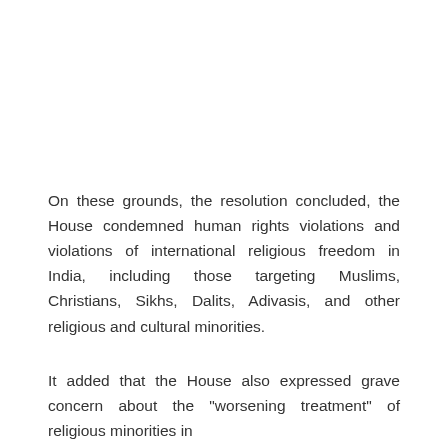On these grounds, the resolution concluded, the House condemned human rights violations and violations of international religious freedom in India, including those targeting Muslims, Christians, Sikhs, Dalits, Adivasis, and other religious and cultural minorities.
It added that the House also expressed grave concern about the "worsening treatment" of religious minorities in